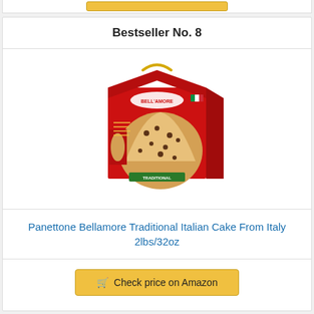Bestseller No. 8
[Figure (photo): Red box packaging of Bellamore Panettone Traditional Italian Cake, showing sliced panettone bread on the front of the box with yellow handle on top. Brand name 'BELL'AMORE' visible on box.]
Panettone Bellamore Traditional Italian Cake From Italy 2lbs/32oz
Check price on Amazon